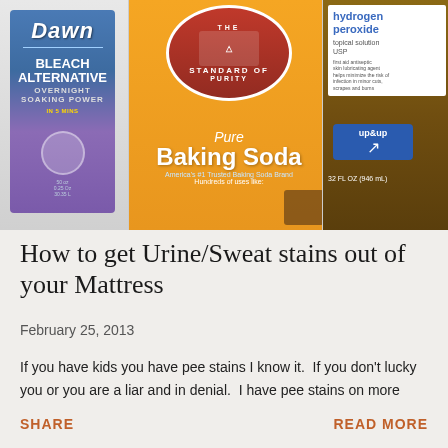[Figure (photo): Photo of three cleaning product containers: Dawn Bleach Alternative dish soap (left, blue/purple label), Arm & Hammer Pure Baking Soda box (center, orange with red circle logo), and up&up hydrogen peroxide topical solution USP in brown bottle (right)]
How to get Urine/Sweat stains out of your Mattress
February 25, 2013
If you have kids you have pee stains I know it.  If you don't lucky you or you are a liar and in denial.  I have pee stains on more than one mattress.  I also have sweat stains on pillows because well I sweat a.lot .  It's a gift I know. I digress. Anyway I have tried m…
SHARE
READ MORE